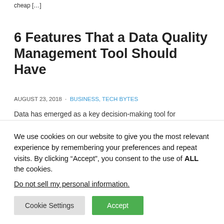cheap [&hellip;]
6 Features That a Data Quality Management Tool Should Have
AUGUST 23, 2018  ·  BUSINESS, TECH BYTES
Data has emerged as a key decision-making tool for businesses today. The data-driven enterprises gather information from all the sources it can, structures this information and then analyzes it to get rich and actionable insights. This data could relate to customers, suppliers or employees depending on the source it comes from and
We use cookies on our website to give you the most relevant experience by remembering your preferences and repeat visits. By clicking “Accept”, you consent to the use of ALL the cookies.
Do not sell my personal information.